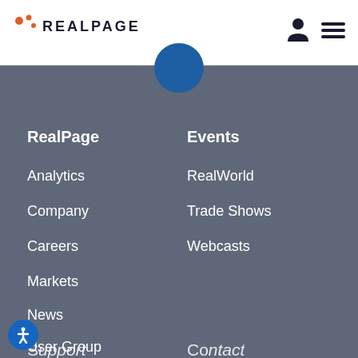RealPage
RealPage
Analytics
Company
Careers
Markets
News
User Group
Events
RealWorld
Trade Shows
Webcasts
S... (Support — partially visible)
Co... (Contact — partially visible)